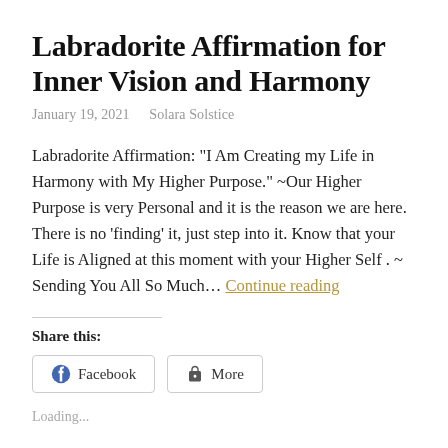Labradorite Affirmation for Inner Vision and Harmony
January 19, 2021   Solara Solstice
Labradorite Affirmation: "I Am Creating my Life in Harmony with My Higher Purpose." ~Our Higher Purpose is very Personal and it is the reason we are here. There is no 'finding' it, just step into it. Know that your Life is Aligned at this moment with your Higher Self . ~ Sending You All So Much... Continue reading
Share this:
Facebook   More
Loading...